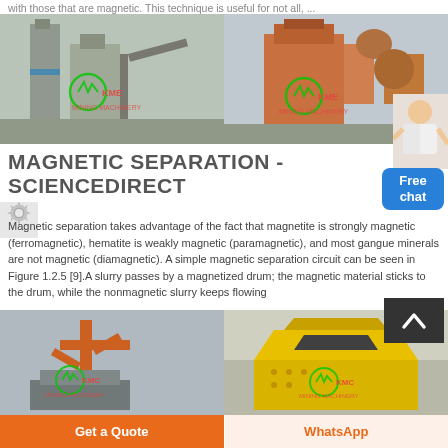with those that are magnetic. This technique is useful for not all, ...
[Figure (photo): Two industrial magnetic separation facility photos side by side - left shows cement/industrial plant with silos and KMC watermark, right shows orange/red heavy machinery equipment with KMC watermark]
MAGNETIC SEPARATION - SCIENCEDIRECT
Magnetic separation takes advantage of the fact that magnetite is strongly magnetic (ferromagnetic), hematite is weakly magnetic (paramagnetic), and most gangue minerals are not magnetic (diamagnetic). A simple magnetic separation circuit can be seen in Figure 1.2.5 [9].A slurry passes by a magnetized drum; the magnetic material sticks to the drum, while the nonmagnetic slurry keeps flowing
[Figure (photo): Two more industrial equipment photos side by side - left shows orange crane/excavator equipment with KMC watermark in industrial setting, right shows yellow heavy machinery/impact crusher with KMC watermark in warehouse]
Get a Quote
WhatsApp